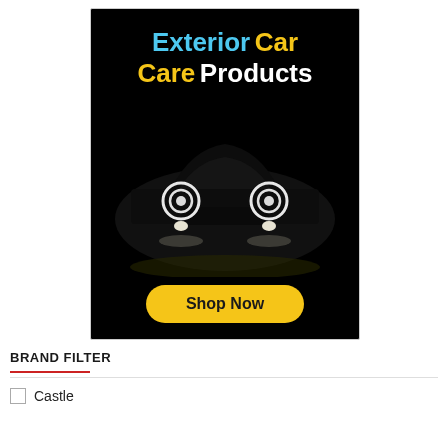[Figure (illustration): Exterior Car Care Products advertisement banner on black background showing a dark car with glowing headlights and a yellow 'Shop Now' button. Title text: 'Exterior Car Care Products' in cyan and yellow/white lettering.]
BRAND FILTER
Castle